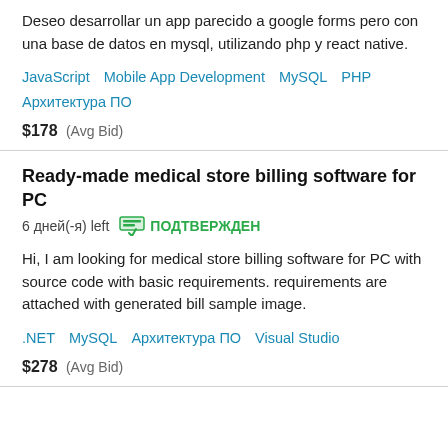Deseo desarrollar un app parecido a google forms pero con una base de datos en mysql, utilizando php y react native.
JavaScript   Mobile App Development   MySQL   PHP   Архитектура ПО
$178  (Avg Bid)
Ready-made medical store billing software for PC
6 дней(-я) left   ПОДТВЕРЖДЕН
Hi, I am looking for medical store billing software for PC with source code with basic requirements. requirements are attached with generated bill sample image.
.NET   MySQL   Архитектура ПО   Visual Studio
$278  (Avg Bid)